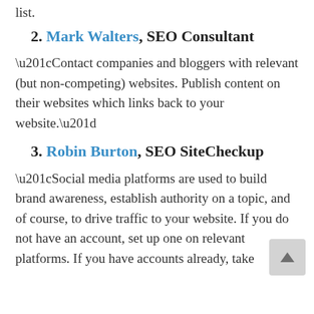list.
2. Mark Walters, SEO Consultant
“Contact companies and bloggers with relevant (but non-competing) websites. Publish content on their websites which links back to your website.”
3. Robin Burton, SEO SiteCheckup
“Social media platforms are used to build brand awareness, establish authority on a topic, and of course, to drive traffic to your website. If you do not have an account, set up one on relevant platforms. If you have accounts already, take